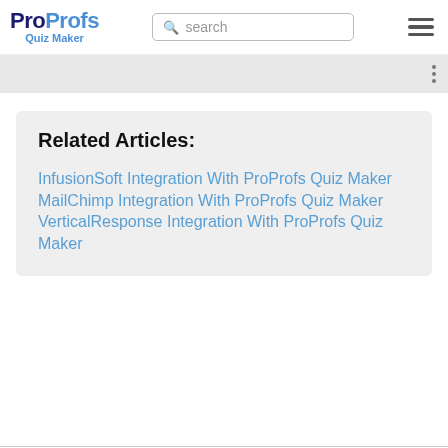ProProfs Quiz Maker
Related Articles:
InfusionSoft Integration With ProProfs Quiz Maker
MailChimp Integration With ProProfs Quiz Maker
VerticalResponse Integration With ProProfs Quiz Maker